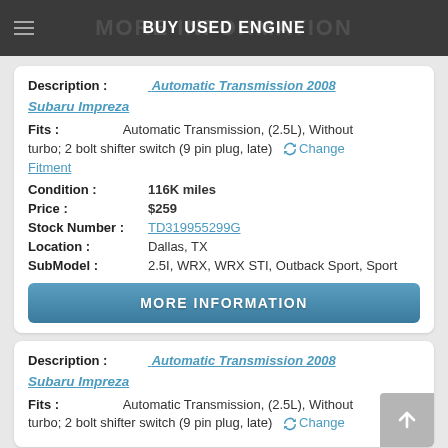BUY USED ENGINE
Description : Automatic Transmission 2008 Subaru Impreza
Fits : Automatic Transmission, (2.5L), Without turbo; 2 bolt shifter switch (9 pin plug, late) Change Fitment
Condition : 116K miles
Price : $259
Stock Number : TD319955299G
Location : Dallas, TX
SubModel : 2.5I, WRX, WRX STI, Outback Sport, Sport
MORE INFORMATION
Description : Automatic Transmission 2008 Subaru Impreza
Fits : Automatic Transmission, (2.5L), Without turbo; 2 bolt shifter switch (9 pin plug, late) Change